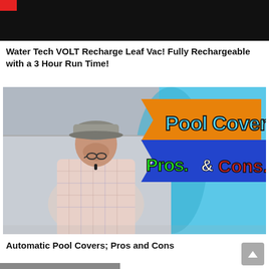[Figure (screenshot): Black video thumbnail bar at top of page with small red rectangle in top-left corner]
Water Tech VOLT Recharge Leaf Vac! Fully Rechargeable with a 3 Hour Run Time!
[Figure (photo): Video thumbnail showing a man in a plaid shirt and cap standing in front of a pool, with a large graphic displaying 'Pool Covers Pros. & Cons.' in colorful text on an orange and blue arrow-shaped banner]
Automatic Pool Covers; Pros and Cons